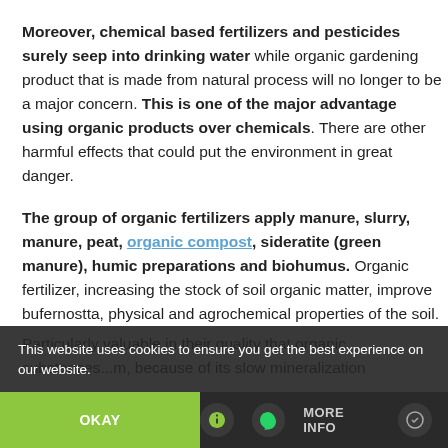Moreover, chemical based fertilizers and pesticides surely seep into drinking water while organic gardening product that is made from natural process will no longer to be a major concern. This is one of the major advantage using organic products over chemicals. There are other harmful effects that could put the environment in great danger.
The group of organic fertilizers apply manure, slurry, manure, peat, organic compost, sideratite (green manure), humic preparations and biohumus. Organic fertilizer, increasing the stock of soil organic matter, improve bufernostta, physical and agrochemical properties of the soil.
This website uses cookies to ensure you get the best experience on our website.
OKAY   MORE INFO